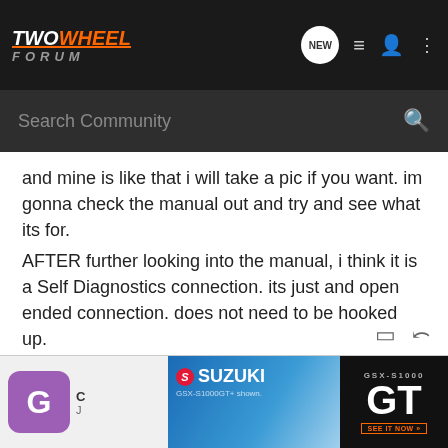TWOWHEEL FORUM — Search Community
and mine is like that i will take a pic if you want. im gonna check the manual out and try and see what its for.
AFTER further looking into the manual, i think it is a Self Diagnostics connection. its just and open ended connection. does not need to be hooked up.
:here: GO GREEN OR GO HOME :here:
[Figure (screenshot): Suzuki GSX-S1000 GT advertisement banner]
G — Suzuki GSX-S1000GT+ shown. GSX-S1000 GT — SEE IT NOW